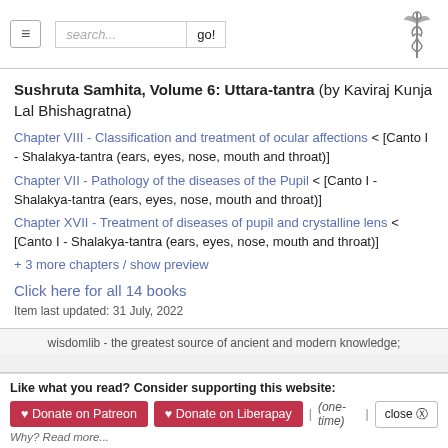Navigation bar with hamburger menu, search box, go button, and caduceus logo
Sushruta Samhita, Volume 6: Uttara-tantra (by Kaviraj Kunja Lal Bhishagratna)
Chapter VIII - Classification and treatment of ocular affections < [Canto I - Shalakya-tantra (ears, eyes, nose, mouth and throat)]
Chapter VII - Pathology of the diseases of the Pupil < [Canto I - Shalakya-tantra (ears, eyes, nose, mouth and throat)]
Chapter XVII - Treatment of diseases of pupil and crystalline lens < [Canto I - Shalakya-tantra (ears, eyes, nose, mouth and throat)]
+ 3 more chapters / show preview
Click here for all 14 books
Item last updated: 31 July, 2022
wisdomlib - the greatest source of ancient and modern knowledge;
Like what you read? Consider supporting this website:
♥ Donate on Patreon  ♥ Donate on Liberapay  | (one-time) |  close ⊗
Why? Read more...